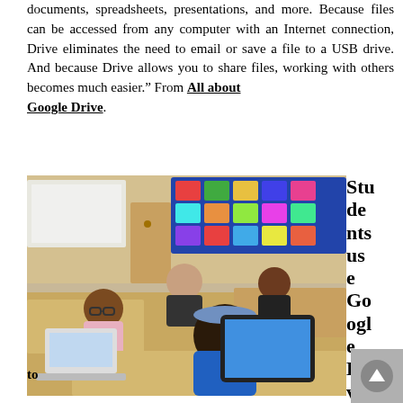documents, spreadsheets, presentations, and more. Because files can be accessed from any computer with an Internet connection, Drive eliminates the need to email or save a file to a USB drive. And because Drive allows you to share files, working with others becomes much easier." From All about Google Drive.
[Figure (photo): Students sitting at classroom desks using laptops and tablets. A girl in a blue hoodie is using a tablet in the foreground, while other students work in the background. A colorful bulletin board is visible on the back wall.]
Students use Google Drive to